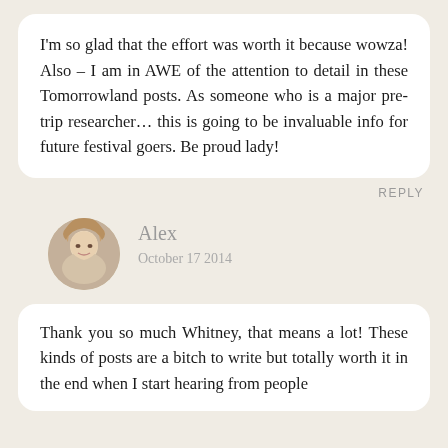I'm so glad that the effort was worth it because wowza! Also – I am in AWE of the attention to detail in these Tomorrowland posts. As someone who is a major pre-trip researcher… this is going to be invaluable info for future festival goers. Be proud lady!
REPLY
Alex
October 17 2014
Thank you so much Whitney, that means a lot! These kinds of posts are a bitch to write but totally worth it in the end when I start hearing from people